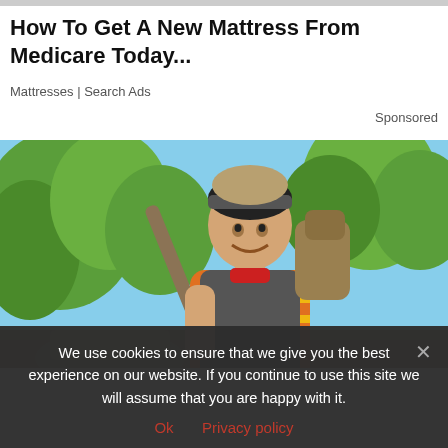How To Get A New Mattress From Medicare Today...
Mattresses | Search Ads
Sponsored
[Figure (photo): Smiling male worker in orange safety vest and cap, carrying a shovel over his shoulder outdoors with trees in the background.]
We use cookies to ensure that we give you the best experience on our website. If you continue to use this site we will assume that you are happy with it.
Ok  Privacy policy